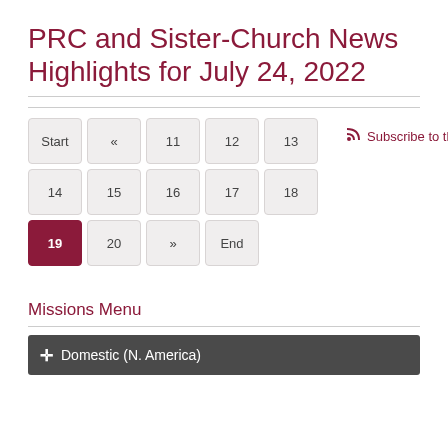PRC and Sister-Church News Highlights for July 24, 2022
[Figure (other): Pagination control with buttons: Start, «, 11, 12, 13, 14, 15, 16, 17, 18, 19 (active/selected), 20, », End. RSS subscribe link to the right.]
Missions Menu
✛ Domestic (N. America)